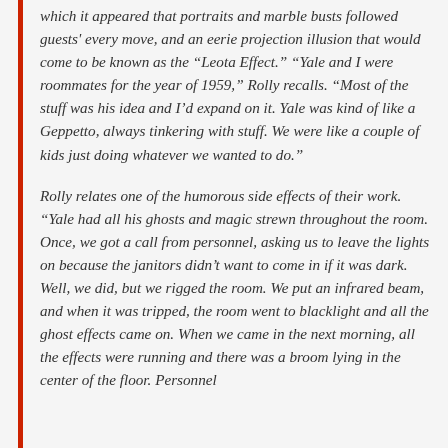which it appeared that portraits and marble busts followed guests' every move, and an eerie projection illusion that would come to be known as the “Leota Effect.” “Yale and I were roommates for the year of 1959,” Rolly recalls. “Most of the stuff was his idea and I’d expand on it. Yale was kind of like a Geppetto, always tinkering with stuff. We were like a couple of kids just doing whatever we wanted to do.”
Rolly relates one of the humorous side effects of their work. “Yale had all his ghosts and magic strewn throughout the room. Once, we got a call from personnel, asking us to leave the lights on because the janitors didn’t want to come in if it was dark. Well, we did, but we rigged the room. We put an infrared beam, and when it was tripped, the room went to blacklight and all the ghost effects came on. When we came in the next morning, all the effects were running and there was a broom lying in the center of the floor. Personnel